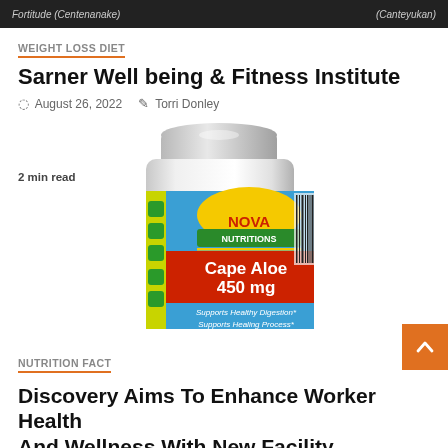[Figure (photo): Top dark banner with text 'Fortitude (Centenanake)' on left and '(Canteyukan)' on right]
WEIGHT LOSS DIET
Sarner Well being & Fitness Institute
August 26, 2022   Torri Donley
[Figure (photo): Nova Nutritions Cape Aloe 450 mg supplement bottle with blue label. Text on label: NOVA NUTRITIONS, Cape Aloe 450 mg, Supports Healthy Digestion*, Supports Healing Process*]
2 min read
NUTRITION FACT
Discovery Aims To Enhance Worker Health And Wellness With New Facility